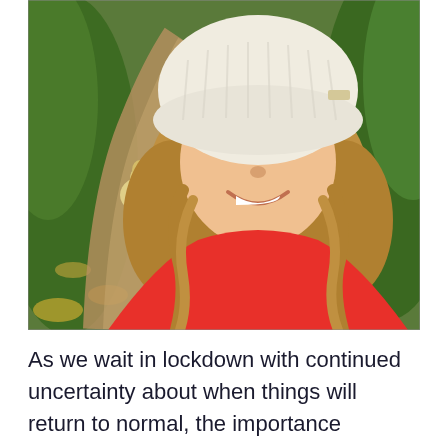[Figure (photo): A woman with curly blonde hair wearing a white knit beanie hat and a red turtleneck sweater, taking a selfie on a woodland trail. Behind her, a yellow Labrador dog stands on the path. The surroundings show autumn foliage and green vegetation.]
As we wait in lockdown with continued uncertainty about when things will return to normal, the importance